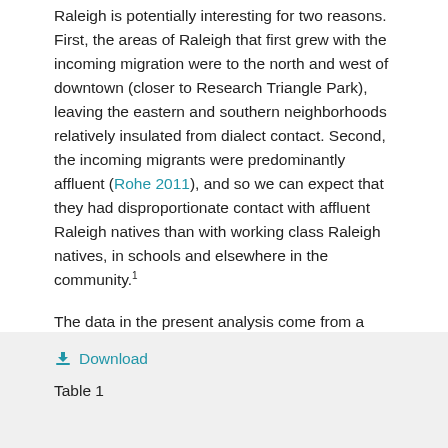Raleigh is potentially interesting for two reasons. First, the areas of Raleigh that first grew with the incoming migration were to the north and west of downtown (closer to Research Triangle Park), leaving the eastern and southern neighborhoods relatively insulated from dialect contact. Second, the incoming migrants were predominantly affluent (Rohe 2011), and so we can expect that they had disproportionate contact with affluent Raleigh natives than with working class Raleigh natives, in schools and elsewhere in the community.¹
The data in the present analysis come from a 189-speaker subset of the Raleigh corpus. All of the speakers in the present subset are White. The conversational interviews were transcribed and force-aligned, and the vowels were measured automatically and hand-corrected. Token counts for each of the six elements of the SVS appear in Table 1.
Table 1